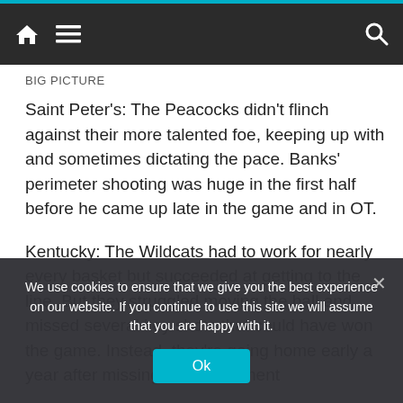Navigation bar with home, menu, and search icons
BIG PICTURE
Saint Peter's: The Peacocks didn't flinch against their more talented foe, keeping up with and sometimes dictating the pace. Banks' perimeter shooting was huge in the first half before he came up late in the game and in OT.
Kentucky: The Wildcats had to work for nearly every basket but succeeded at getting to the line. But they struggled moving the ball and missed several key shots that could have won the game. Instead, they're going home early a year after missing the tournament
We use cookies to ensure that we give you the best experience on our website. If you continue to use this site we will assume that you are happy with it.